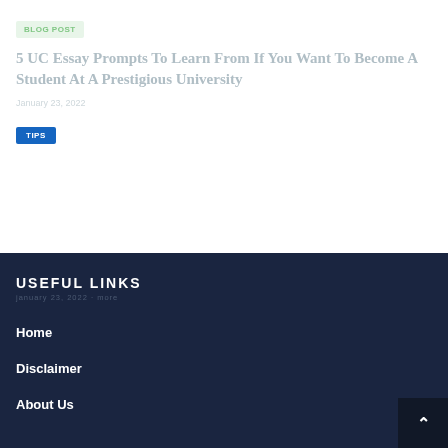BLOG POST
5 UC Essay Prompts To Learn From If You Want To Become A Student At A Prestigious University
January 23, 2022
TIPS
USEFUL LINKS
January 23, 2022 · more
Home
Disclaimer
About Us